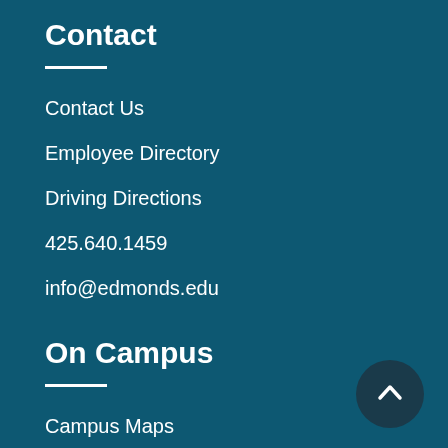Contact
Contact Us
Employee Directory
Driving Directions
425.640.1459
info@edmonds.edu
On Campus
Campus Maps